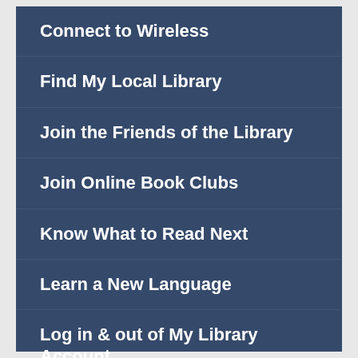Connect to Wireless
Find My Local Library
Join the Friends of the Library
Join Online Book Clubs
Know What to Read Next
Learn a New Language
Log in & out of My Library Account
Make a Donation